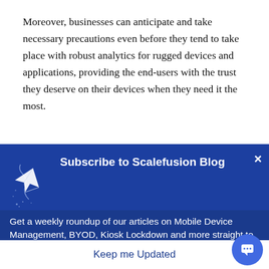Moreover, businesses can anticipate and take necessary precautions even before they tend to take place with robust analytics for rugged devices and applications, providing the end-users with the trust they deserve on their devices when they need it the most.
Among the essential features of app analytics are the
[Figure (screenshot): A modal popup overlay with dark blue background titled 'Subscribe to Scalefusion Blog' with a paper plane icon on the left, a close (×) button top-right, body text 'Get a weekly roundup of our articles on Mobile Device Management, BYOD, Kiosk Lockdown and more straight to your inbox!' and a white 'Keep me Updated' button at the bottom. A blue circular chat icon appears at bottom-right.]